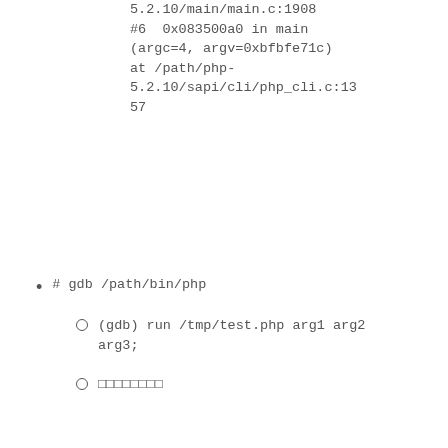5.2.10/main/main.c:1908
#6  0x083500a0 in main (argc=4, argv=0xbfbfe71c) at /path/php-5.2.10/sapi/cli/php_cli.c:1357
# gdb /path/bin/php
(gdb) run /tmp/test.php arg1 arg2 arg3;
□□□□□□□□